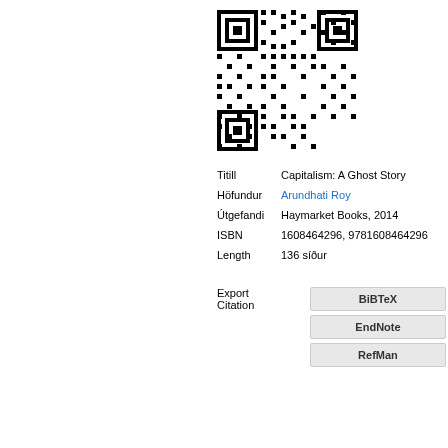[Figure (other): QR code image linking to book information]
| Titill | Capitalism: A Ghost Story |
| Höfundur | Arundhati Roy |
| Útgefandi | Haymarket Books, 2014 |
| ISBN | 1608464296, 9781608464296 |
| Length | 136 síður |
| Export Citation | BiBTeX | EndNote | RefMan |